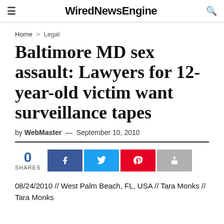WiredNewsEngine
Home > Legal
Baltimore MD sex assault: Lawyers for 12-year-old victim want surveillance tapes
by WebMaster — September 10, 2010
0 SHARES
08/24/2010 // West Palm Beach, FL, USA // Tara Monks // Tara Monks